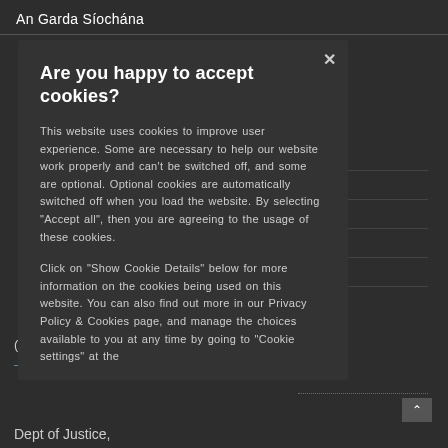An Garda Síochána
[Figure (screenshot): Cookie consent modal dialog on An Garda Síochána website. Dark background with a modal overlay showing title 'Are you happy to accept cookies?' and explanatory text about cookie usage, with an X close button.]
Are you happy to accept cookies?
This website uses cookies to improve user experience. Some are necessary to help our website work properly and can't be switched off, and some are optional. Optional cookies are automatically switched off when you load the website. By selecting "Accept all", then you are agreeing to the usage of these cookies.
Click on "Show Cookie Details" below for more information on the cookies being used on this website. You can also find out more in our Privacy Policy & Cookies page, and manage the choices available to you at any time by going to "Cookie settings" at the
Dept of Justice,